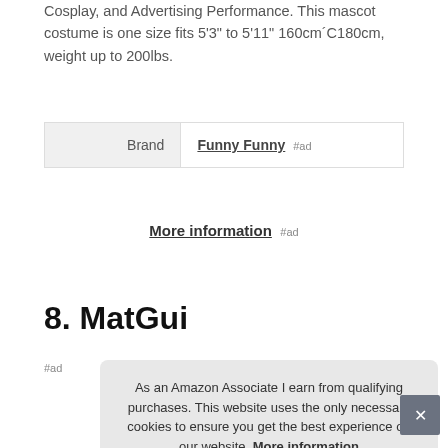Cosplay, and Advertising Performance. This mascot costume is one size fits 5'3" to 5'11" 160cm´C180cm, weight up to 200lbs.
| Brand | Funny Funny #ad |
| --- | --- |
More information #ad
8. MatGui
As an Amazon Associate I earn from qualifying purchases. This website uses the only necessary cookies to ensure you get the best experience on our website. More information